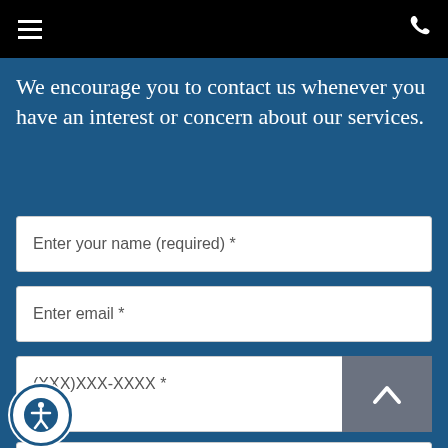Navigation header with hamburger menu and phone icon
We encourage you to contact us whenever you have an interest or concern about our services.
Enter your name (required) *
Enter email *
(XXX)XXX-XXXX *
Message *